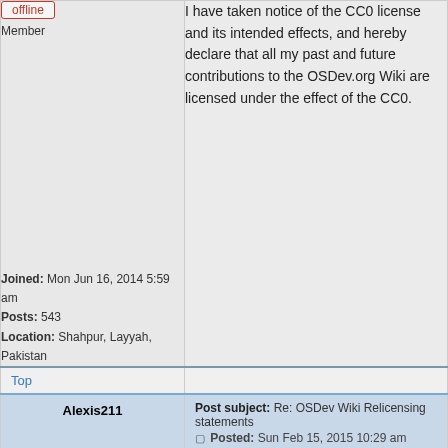offline
Member
I have taken notice of the CC0 license and its intended effects, and hereby declare that all my past and future contributions to the OSDev.org Wiki are licensed under the effect of the CC0.
Joined: Mon Jun 16, 2014 5:59 am
Posts: 543
Location: Shahpur, Layyah, Pakistan
Top
Alexis211
Post subject: Re: OSDev Wiki Relicensing statements
Posted: Sun Feb 15, 2015 10:29 am
offline
I have taken notice of the CC0 license and its intended effects, and hereby declare that all my past and future contributions to the OSDev.org Wiki are licensed under the effect of the CC0.
Joined: Mon Sep 14, 2009 9:19 am